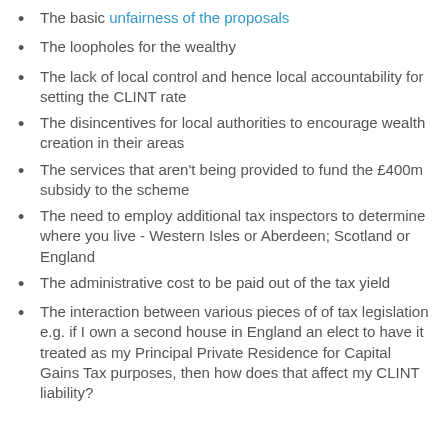The basic unfairness of the proposals
The loopholes for the wealthy
The lack of local control and hence local accountability for setting the CLINT rate
The disincentives for local authorities to encourage wealth creation in their areas
The services that aren't being provided to fund the £400m subsidy to the scheme
The need to employ additional tax inspectors to determine where you live - Western Isles or Aberdeen; Scotland or England
The administrative cost to be paid out of the tax yield
The interaction between various pieces of of tax legislation e.g. if I own a second house in England an elect to have it treated as my Principal Private Residence for Capital Gains Tax purposes, then how does that affect my CLINT liability?